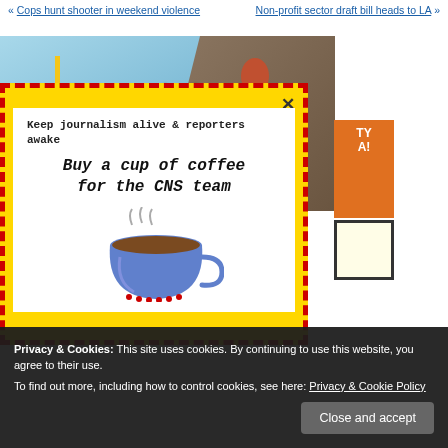« Cops hunt shooter in weekend violence | Non-profit sector draft bill heads to LA »
[Figure (photo): Advertisement banner with rock climber image and text 'Conquer the future with returns like']
[Figure (infographic): Yellow dashed border popup dialog with white inner box saying 'Keep journalism alive & reporters awake / Buy a cup of coffee for the CNS team' with a coffee cup illustration and X close button]
Privacy & Cookies: This site uses cookies. By continuing to use this website, you agree to their use. To find out more, including how to control cookies, see here: Privacy & Cookie Policy